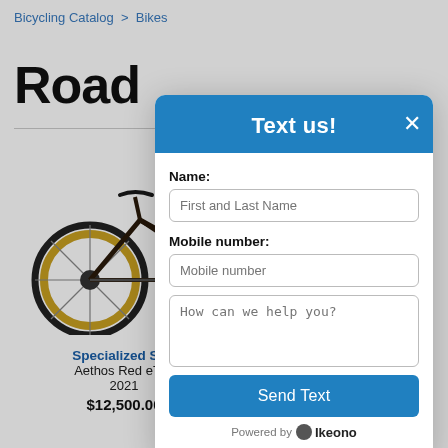Bicycling Catalog > Bikes
Road
[Figure (photo): A dark carbon road bicycle (Specialized S-Works Aethos) with tan/gold tires, shown in profile view against a white background.]
Specialized S-W
Aethos Red eTap
2021
$12,500.00
[Figure (screenshot): A modal dialog box titled 'Text us!' with a blue header and close (X) button. Contains fields: Name (with placeholder 'First and Last Name'), Mobile number (with placeholder 'Mobile number'), a textarea (with placeholder 'How can we help you?'), and a blue 'Send Text' button. Footer reads 'Powered by Ikeono'.]